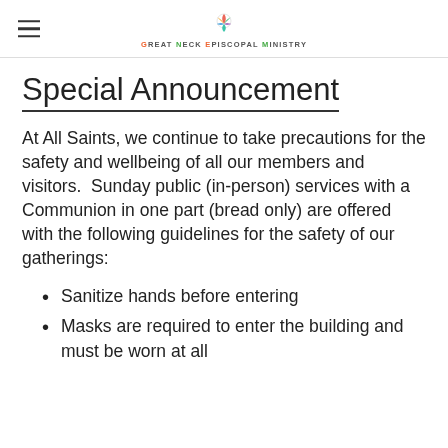GREAT NECK EPISCOPAL MINISTRY
Special Announcement
At All Saints, we continue to take precautions for the safety and wellbeing of all our members and visitors.  Sunday public (in-person) services with a Communion in one part (bread only) are offered with the following guidelines for the safety of our gatherings:
Sanitize hands before entering
Masks are required to enter the building and must be worn at all